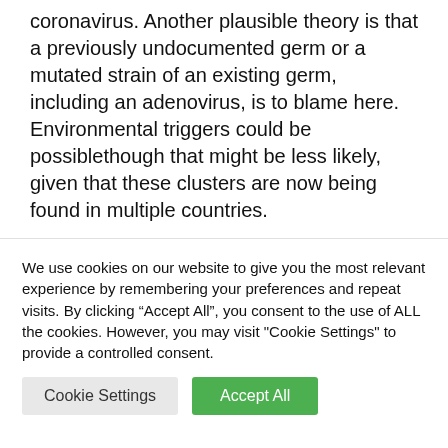coronavirus. Another plausible theory is that a previously undocumented germ or a mutated strain of an existing germ, including an adenovirus, is to blame here. Environmental triggers could be possiblethough that might be less likely, given that these clusters are now being found in multiple countries.
"At the time of publication, the leading
We use cookies on our website to give you the most relevant experience by remembering your preferences and repeat visits. By clicking “Accept All”, you consent to the use of ALL the cookies. However, you may visit "Cookie Settings" to provide a controlled consent.